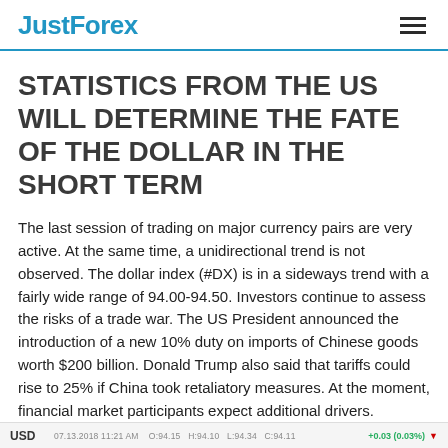JustForex
STATISTICS FROM THE US WILL DETERMINE THE FATE OF THE DOLLAR IN THE SHORT TERM
The last session of trading on major currency pairs are very active. At the same time, a unidirectional trend is not observed. The dollar index (#DX) is in a sideways trend with a fairly wide range of 94.00-94.50. Investors continue to assess the risks of a trade war. The US President announced the introduction of a new 10% duty on imports of Chinese goods worth $200 billion. Donald Trump also said that tariffs could rise to 25% if China took retaliatory measures. At the moment, financial market participants expect additional drivers.
USD   07.13.2018 11:21 AM   O:94.15  H:94.10  L:94.34  C:94.11   +0.03 (0.03%)